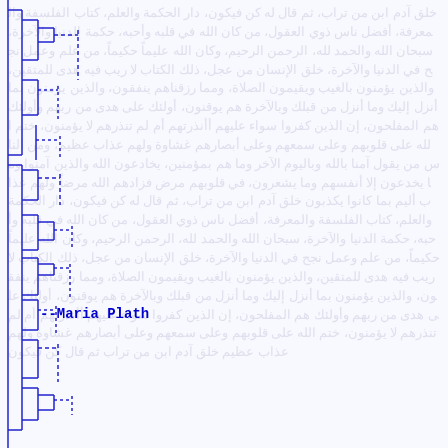[Figure (flowchart): A blue-outlined bracket/tree diagram with nested rectangular bracket shapes arranged vertically on the left side of the page, overlaid on faded handwritten or printed text background. Multiple levels of nested square bracket pairs connected by vertical and horizontal lines.]
--Maria Plath